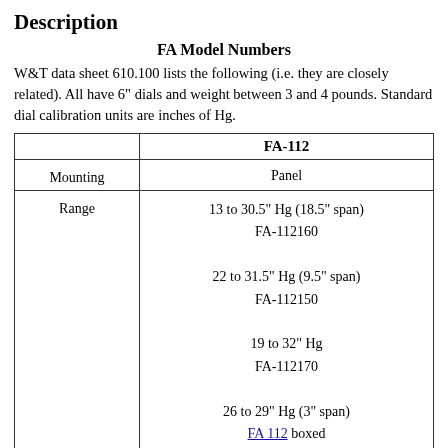Description
FA Model Numbers
W&T data sheet 610.100 lists the following (i.e. they are closely related). All have 6" dials and weight between 3 and 4 pounds. Standard dial calibration units are inches of Hg.
|  | FA-112 |
| --- | --- |
| Mounting | Panel |
| Range | 13 to 30.5" Hg (18.5" span)
FA-112160

22 to 31.5" Hg (9.5" span)
FA-112150

19 to 32" Hg
FA-112170

26 to 29" Hg (3" span)
FA 112 boxed |
| Accuracy | 0.1% of full scale |